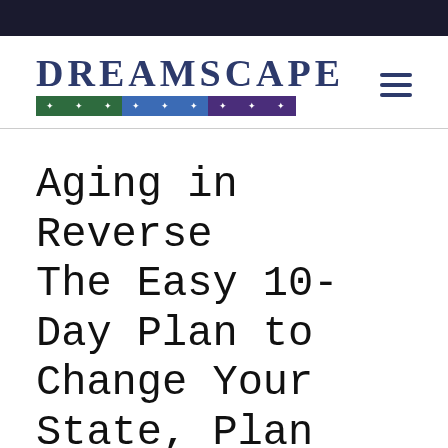[Figure (logo): Dreamscape logo with colored star bar below the text]
Aging in Reverse The Easy 10-Day Plan to Change Your State, Plan Your Plate, Love Your Weight
Additional Resources